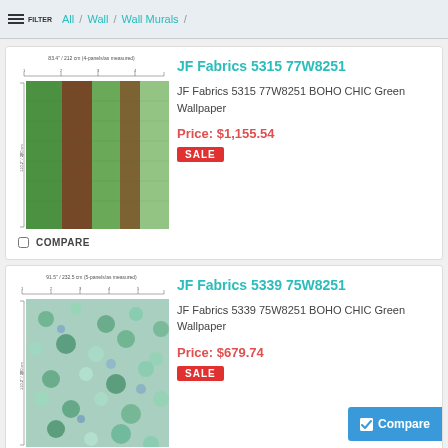FILTER / All / Wall / Wall Murals /
[Figure (photo): JF Fabrics 5315 77W8251 BOHO CHIC Green Wallpaper product swatch image showing green and brown vertical stripes with ruler scale]
JF Fabrics 5315 77W8251
JF Fabrics 5315 77W8251 BOHO CHIC Green Wallpaper
Price: $1,155.54
SALE
COMPARE
[Figure (photo): JF Fabrics 5339 75W8251 BOHO CHIC Green Wallpaper product swatch image showing blue and green floral pattern with ruler scale]
JF Fabrics 5339 75W8251
JF Fabrics 5339 75W8251 BOHO CHIC Green Wallpaper
Price: $679.74
SALE
COMPARE
Compare